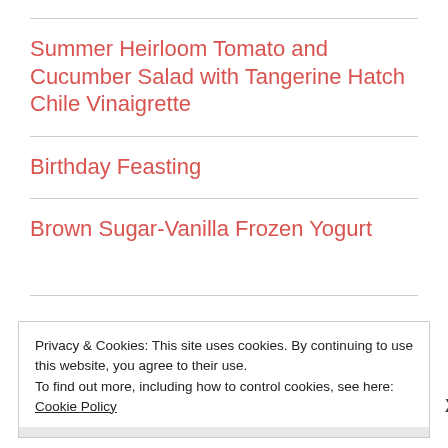Summer Heirloom Tomato and Cucumber Salad with Tangerine Hatch Chile Vinaigrette
Birthday Feasting
Brown Sugar-Vanilla Frozen Yogurt
Privacy & Cookies: This site uses cookies. By continuing to use this website, you agree to their use.
To find out more, including how to control cookies, see here: Cookie Policy